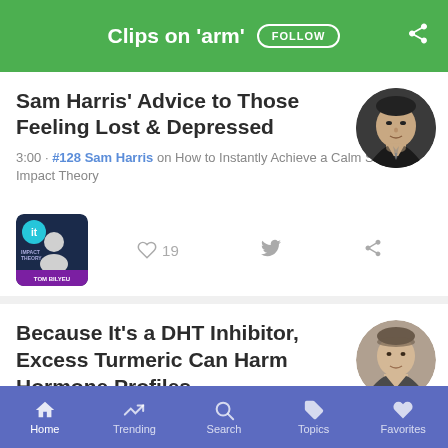Clips on 'arm'  FOLLOW
Sam Harris' Advice to Those Feeling Lost & Depressed
3:00 · #128 Sam Harris on How to Instantly Achieve a Calm State | Impact Theory
[Figure (photo): Podcast thumbnail for Impact Theory with host photo]
♡ 19
Because It's a DHT Inhibitor, Excess Turmeric Can Harm Hormone Profiles
Home  Trending  Search  Topics  Favorites